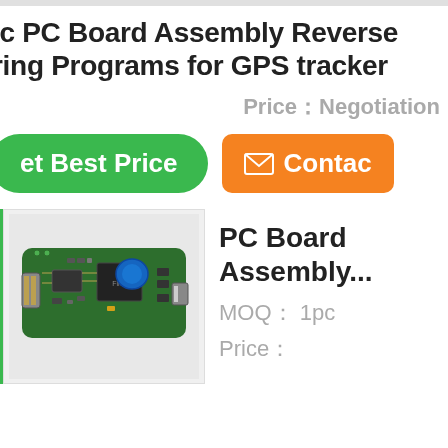ic PC Board Assembly Reverse ring Programs for GPS tracker
Price：Negotiation
et Best Price
Contac
[Figure (photo): Green GPS tracker PCB board with chips, blue capacitor, and connectors]
PC Board Assembly...
MOQ： 1pc
Price：